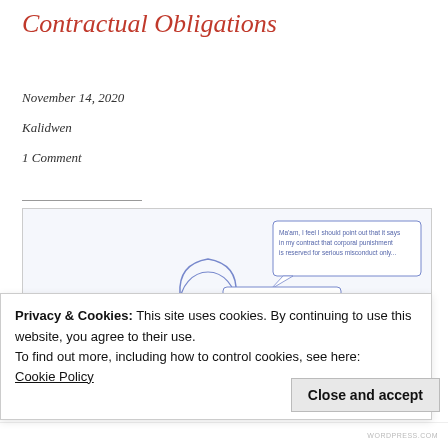Contractual Obligations
November 14, 2020
Kalidwen
1 Comment
[Figure (illustration): Line-art illustration in blue ink showing a woman holding a phone with speech bubbles: 'Ma'am, I feel I should point out that it says in my contract that corporal punishment is reserved for serious misconduct only...' / 'Mmm'm, yes, and?' / 'Well I don't feel like forgetting that you don't take sugar in your coffee is that serious, Ma'am...' / 'Oh it is, Olivia, it is.' Also shows a second character in the lower right.]
Privacy & Cookies: This site uses cookies. By continuing to use this website, you agree to their use.
To find out more, including how to control cookies, see here:
Cookie Policy
Close and accept